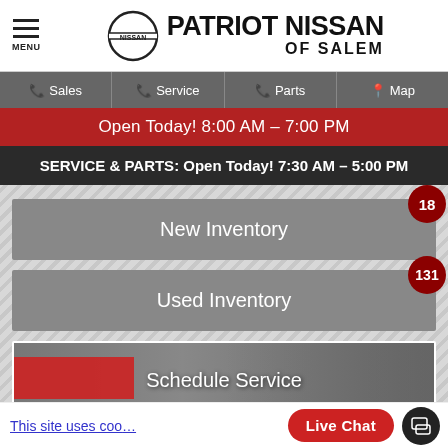[Figure (screenshot): Patriot Nissan of Salem dealership website header with Nissan logo, menu icon, navigation bar, hours banners, inventory links, and live chat button]
PATRIOT NISSAN OF SALEM
Sales | Service | Parts | Map
Open Today! 8:00 AM – 7:00 PM
SERVICE & PARTS: Open Today! 7:30 AM – 5:00 PM
New Inventory 18
Used Inventory 131
Schedule Service
This site uses coo...
Live Chat